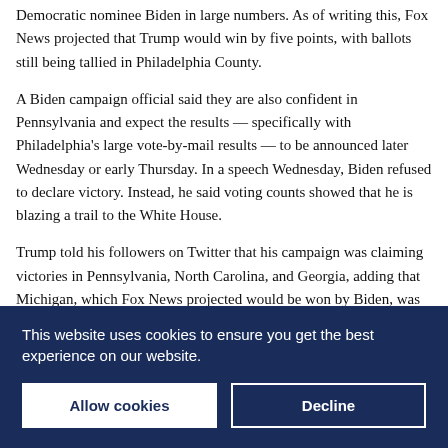Democratic nominee Biden in large numbers. As of writing this, Fox News projected that Trump would win by five points, with ballots still being tallied in Philadelphia County.
A Biden campaign official said they are also confident in Pennsylvania and expect the results — specifically with Philadelphia's large vote-by-mail results — to be announced later Wednesday or early Thursday. In a speech Wednesday, Biden refused to declare victory. Instead, he said voting counts showed that he is blazing a trail to the White House.
Trump told his followers on Twitter that his campaign was claiming victories in Pennsylvania, North Carolina, and Georgia, adding that Michigan, which Fox News projected would be won by Biden, was
This website uses cookies to ensure you get the best experience on our website.
Allow cookies
Decline